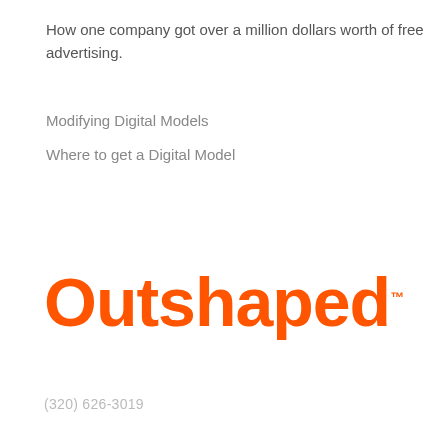How one company got over a million dollars worth of free advertising.
Modifying Digital Models
Where to get a Digital Model
[Figure (logo): Outshaped logo in bold orange text on dark background with TM superscript]
(320) 626-3019